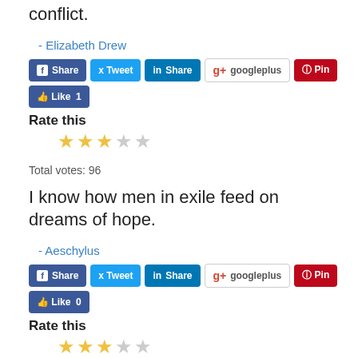conflict.
- Elizabeth Drew
[Figure (other): Social sharing buttons: Facebook Share, Twitter Tweet, LinkedIn Share, Google+, Pinterest Pin, Facebook Like 1]
Rate this
[Figure (other): Star rating: 3 out of 5 stars (stars 1-3 filled, 4-5 empty)]
Total votes: 96
I know how men in exile feed on dreams of hope.
- Aeschylus
[Figure (other): Social sharing buttons: Facebook Share, Twitter Tweet, LinkedIn Share, Google+, Pinterest Pin, Facebook Like 0]
Rate this
[Figure (other): Star rating: 3 out of 5 stars (stars 1-3 filled, 4-5 empty)]
Total votes: 75